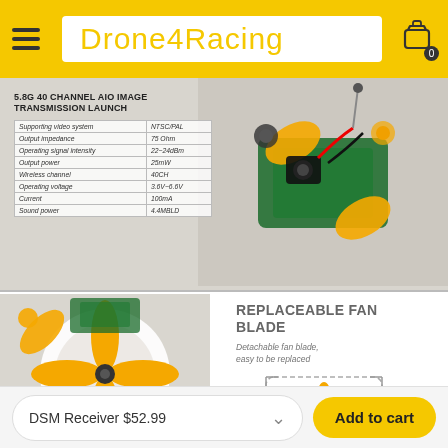Drone4Racing
[Figure (photo): Racing drone close-up showing circuit board, camera module, and orange accents on grey background]
5.8G 40 CHANNEL AIO IMAGE TRANSMISSION LAUNCH
|  |  |
| --- | --- |
| Supporting video system | NTSC/PAL |
| Output impedance | 75 Ohm |
| Operating signal intensity | 22~24dBm |
| Output power | 25mW |
| Wireless channel | 40CH |
| Operating voltage | 3.6V~6.6V |
| Current | 100mA |
| Sound power | 4.4MBLD |
[Figure (photo): Close-up of drone propeller fan blade, orange colored, mounted on white housing]
REPLACEABLE FAN BLADE
Detachable fan blade, easy to be replaced
[Figure (photo): Isolated orange propeller fan blade with dashed border box]
DSM Receiver $52.99
Add to cart